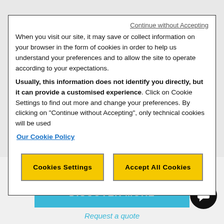Continue without Accepting
When you visit our site, it may save or collect information on your browser in the form of cookies in order to help us understand your preferences and to allow the site to operate according to your expectations. Usually, this information does not identify you directly, but it can provide a customised experience. Click on Cookie Settings to find out more and change your preferences. By clicking on "Continue without Accepting", only technical cookies will be used
Our Cookie Policy
Cookies Settings
Accept All Cookies
GROUP CYCLE CONNECT
DISCOVER MORE
Request a quote